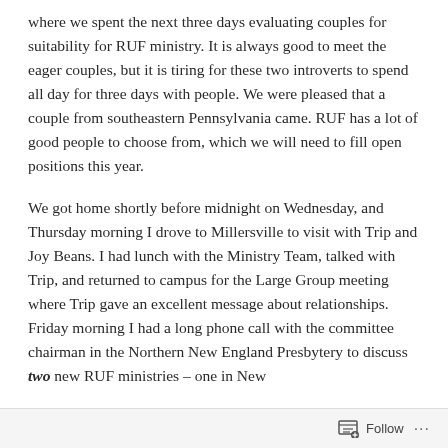where we spent the next three days evaluating couples for suitability for RUF ministry. It is always good to meet the eager couples, but it is tiring for these two introverts to spend all day for three days with people. We were pleased that a couple from southeastern Pennsylvania came. RUF has a lot of good people to choose from, which we will need to fill open positions this year.
We got home shortly before midnight on Wednesday, and Thursday morning I drove to Millersville to visit with Trip and Joy Beans. I had lunch with the Ministry Team, talked with Trip, and returned to campus for the Large Group meeting where Trip gave an excellent message about relationships. Friday morning I had a long phone call with the committee chairman in the Northern New England Presbytery to discuss two new RUF ministries – one in New
Follow ···